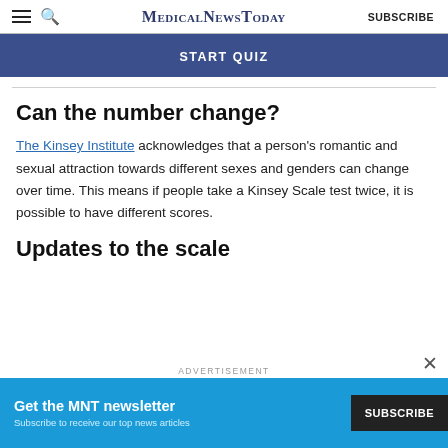MedicalNewsToday | SUBSCRIBE
[Figure (screenshot): START QUIZ button bar in dark blue]
Can the number change?
The Kinsey Institute acknowledges that a person's romantic and sexual attraction towards different sexes and genders can change over time. This means if people take a Kinsey Scale test twice, it is possible to have different scores.
Updates to the scale
[Figure (screenshot): Advertisement banner: Get the MNT newsletter - Subscribe to receive our top news articles. SUBSCRIBE button.]